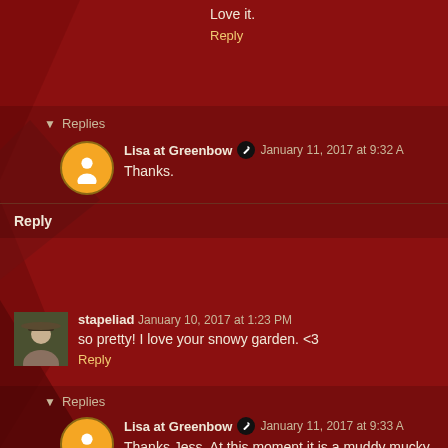Love it.
Reply
Replies
Lisa at Greenbow  January 11, 2017 at 9:32 A
Thanks.
Reply
stapeliad  January 10, 2017 at 1:23 PM
so pretty! I love your snowy garden. <3
Reply
Replies
Lisa at Greenbow  January 11, 2017 at 9:33 A
Thanks Jess. At this moment it is a muddy mucky m
Reply